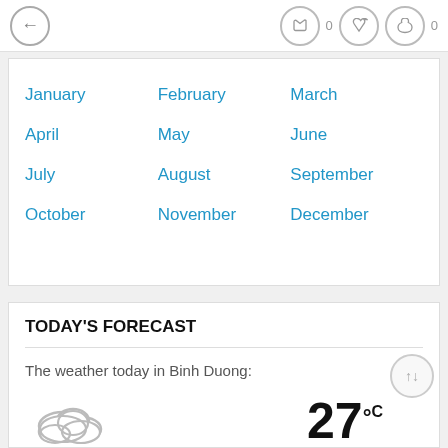← f 0 (twitter) (bookmark) (chat) 0
| January | February | March |
| April | May | June |
| July | August | September |
| October | November | December |
TODAY'S FORECAST
The weather today in Binh Duong:
[Figure (illustration): Cloud icon representing cloudy weather]
27°C
Humidity
83%